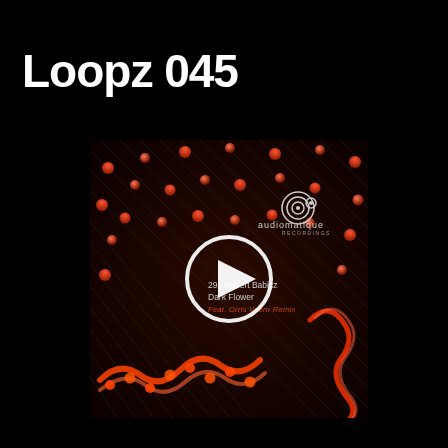Loopz 045
[Figure (photo): Album artwork for Robert Babicz 'Dark Flower' on Audiomatique Recordings, featuring a play button overlay. The cover shows red glowing abstract shapes (dots, curves, and linear patterns) on a dark background. Text on the artwork reads: 29x Robert Babicz, Dark Flower, Feat. Orris Voorn Remix. The Audiomatique logo with concentric circle icon is visible.]